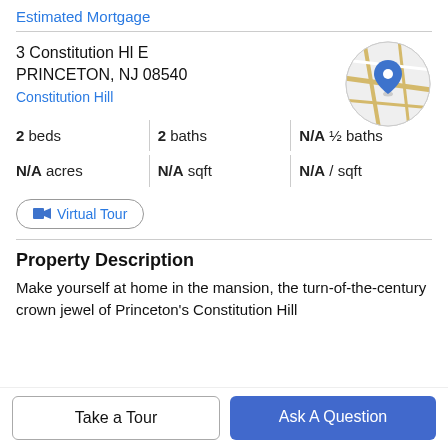Estimated Mortgage
3 Constitution Hl E
PRINCETON, NJ 08540
Constitution Hill
[Figure (map): Circular map thumbnail with a blue location pin marker on a road map]
2 beds   2 baths   N/A ½ baths
N/A acres   N/A sqft   N/A / sqft
Virtual Tour
Property Description
Make yourself at home in the mansion, the turn-of-the-century crown jewel of Princeton's Constitution Hill
Take a Tour
Ask A Question